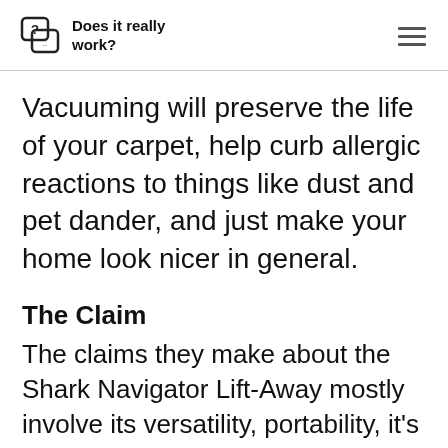Does it really work?
Vacuuming will preserve the life of your carpet, help curb allergic reactions to things like dust and pet dander, and just make your home look nicer in general.
The Claim
The claims they make about the Shark Navigator Lift-Away mostly involve its versatility, portability, it's power, and its affordability. They say be able to clean